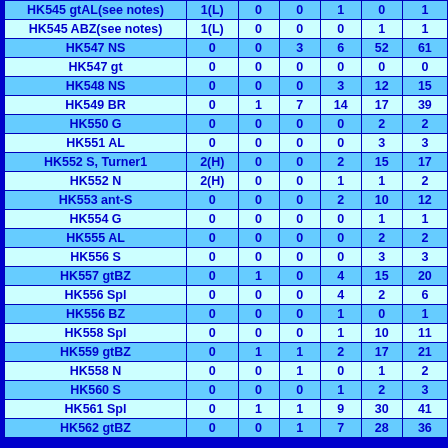| Name | Grade/Type | Col1 | Col2 | Col3 | Col4 | Total |
| --- | --- | --- | --- | --- | --- | --- |
| HK545 gtAL(see notes) | 1(L) | 0 | 0 | 1 | 0 | 1 |
| HK545 ABZ(see notes) | 1(L) | 0 | 0 | 0 | 1 | 1 |
| HK547 NS | 0 | 0 | 3 | 6 | 52 | 61 |
| HK547 gt | 0 | 0 | 0 | 0 | 0 | 0 |
| HK548 NS | 0 | 0 | 0 | 3 | 12 | 15 |
| HK549 BR | 0 | 1 | 7 | 14 | 17 | 39 |
| HK550 G | 0 | 0 | 0 | 0 | 2 | 2 |
| HK551 AL | 0 | 0 | 0 | 0 | 3 | 3 |
| HK552 S, Turner1 | 2(H) | 0 | 0 | 2 | 15 | 17 |
| HK552 N | 2(H) | 0 | 0 | 1 | 1 | 2 |
| HK553 ant-S | 0 | 0 | 0 | 2 | 10 | 12 |
| HK554 G | 0 | 0 | 0 | 0 | 1 | 1 |
| HK555 AL | 0 | 0 | 0 | 0 | 2 | 2 |
| HK556 S | 0 | 0 | 0 | 0 | 3 | 3 |
| HK557 gtBZ | 0 | 1 | 0 | 4 | 15 | 20 |
| HK556 Spl | 0 | 0 | 0 | 4 | 2 | 6 |
| HK556 BZ | 0 | 0 | 0 | 1 | 0 | 1 |
| HK558 Spl | 0 | 0 | 0 | 1 | 10 | 11 |
| HK559 gtBZ | 0 | 1 | 1 | 2 | 17 | 21 |
| HK558 N | 0 | 0 | 1 | 0 | 1 | 2 |
| HK560 S | 0 | 0 | 0 | 1 | 2 | 3 |
| HK561 Spl | 0 | 1 | 1 | 9 | 30 | 41 |
| HK562 gtBZ | 0 | 0 | 1 | 7 | 28 | 36 |